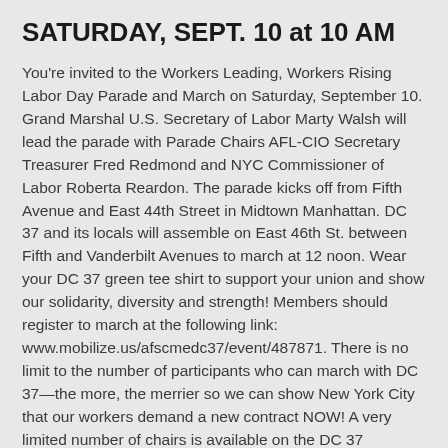SATURDAY, SEPT. 10 at 10 AM
You're invited to the Workers Leading, Workers Rising Labor Day Parade and March on Saturday, September 10. Grand Marshal U.S. Secretary of Labor Marty Walsh will lead the parade with Parade Chairs AFL-CIO Secretary Treasurer Fred Redmond and NYC Commissioner of Labor Roberta Reardon. The parade kicks off from Fifth Avenue and East 44th Street in Midtown Manhattan. DC 37 and its locals will assemble on East 46th St. between Fifth and Vanderbilt Avenues to march at 12 noon. Wear your DC 37 green tee shirt to support your union and show our solidarity, diversity and strength! Members should register to march at the following link: www.mobilize.us/afscmedc37/event/487871. There is no limit to the number of participants who can march with DC 37—the more, the merrier so we can show New York City that our workers demand a new contract NOW! A very limited number of chairs is available on the DC 37 Accessibility Float